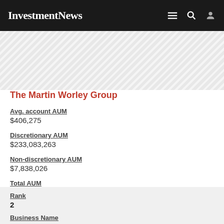InvestmentNews
The Martin Worley Group
Avg. account AUM
$406,275
Discretionary AUM
$233,083,263
Non-discretionary AUM
$7,838,026
Total AUM
$240,921,289
Rank
2
Business Name
Squire Investment Management Company, LLC
Avg. account AUM